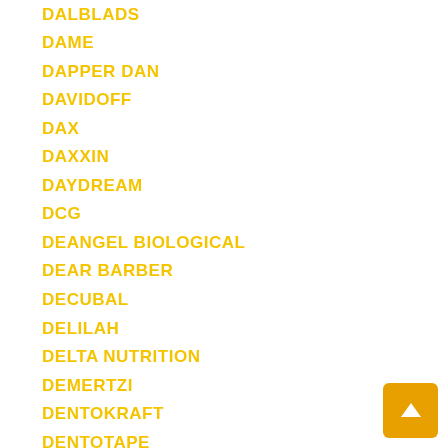DALBLADS
DAME
DAPPER DAN
DAVIDOFF
DAX
DAXXIN
DAYDREAM
DCG
DEANGEL BIOLOGICAL
DEAR BARBER
DECUBAL
DELILAH
DELTA NUTRITION
DEMERTZI
DENTOKRAFT
DENTOTAPE
DENVER ELECTRONICS
DEODOC
DEPEND
DERAMATHLETIC
DERMACURA
DERMATRISSE